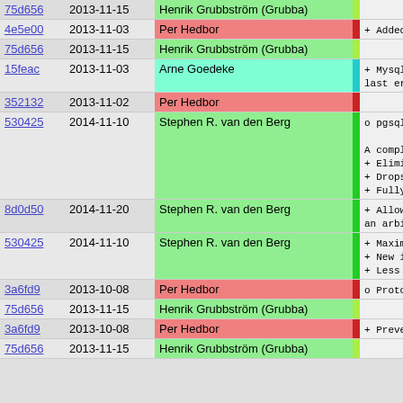| Hash | Date | Author |  | Description |
| --- | --- | --- | --- | --- |
| 75d656 | 2013-11-15 | Henrik Grubbström (Grubba) |  |  |
| 4e5e00 | 2013-11-03 | Per Hedbor |  | + Added su |
| 75d656 | 2013-11-15 | Henrik Grubbström (Grubba) |  |  |
| 15feac | 2013-11-03 | Arne Goedeke |  | + Mysql.my
last er |
| 352132 | 2013-11-02 | Per Hedbor |  |  |
| 530425 | 2014-11-10 | Stephen R. van den Berg |  | o pgsql

A complete
+ Eliminat
+ Drops th
+ Fully th |
| 8d0d50 | 2014-11-20 | Stephen R. van den Berg |  | + Allows t
an arbit |
| 530425 | 2014-11-10 | Stephen R. van den Berg |  | + Maximum
+ New inte
+ Less fil |
| 3a6fd9 | 2013-10-08 | Per Hedbor |  | o Protocols |
| 75d656 | 2013-11-15 | Henrik Grubbström (Grubba) |  |  |
| 3a6fd9 | 2013-10-08 | Per Hedbor |  | + Prevent |
| 75d656 | 2013-11-15 | Henrik Grubbström (Grubba) |  |  |